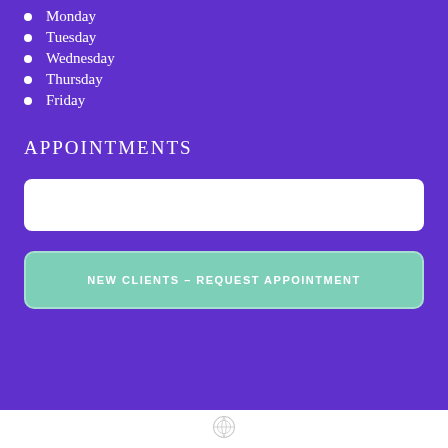Monday
Tuesday
Wednesday
Thursday
Friday
APPOINTMENTS
[Figure (other): Text input field (white rounded rectangle)]
[Figure (other): Button: NEW CLIENTS - REQUEST APPOINTMENT (mint green rounded rectangle)]
[Figure (logo): WordPress logo icon at the bottom center]